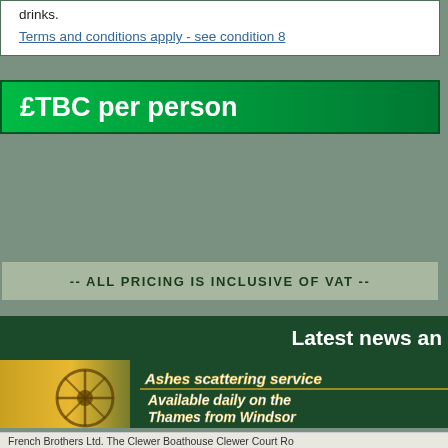drinks.
Terms and conditions apply - see condition 8
£TBC per person
-- ALL PRICING IS INCLUSIVE OF VAT --
Latest news an
[Figure (photo): Ashes scattering service banner with ship's wheel at sunset. Text reads: Ashes scattering service Available daily on the Thames from Windsor]
French Brothers Ltd. The Clewer Boathouse Clewer Court Ro